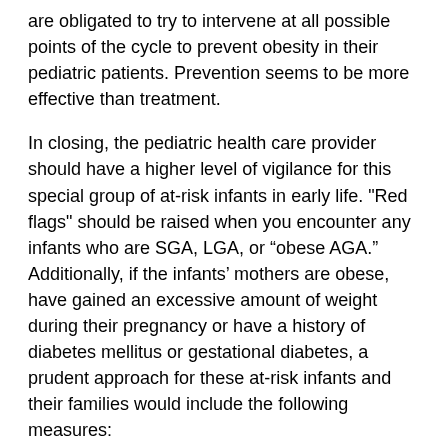are obligated to try to intervene at all possible points of the cycle to prevent obesity in their pediatric patients. Prevention seems to be more effective than treatment.
In closing, the pediatric health care provider should have a higher level of vigilance for this special group of at-risk infants in early life. "Red flags" should be raised when you encounter any infants who are SGA, LGA, or “obese AGA.” Additionally, if the infants’ mothers are obese, have gained an excessive amount of weight during their pregnancy or have a history of diabetes mellitus or gestational diabetes, a prudent approach for these at-risk infants and their families would include the following measures:
1. Breastfeed exclusively for at least six months and preferably for 12 months.
2. Delay introduction of solids or complementary foods,